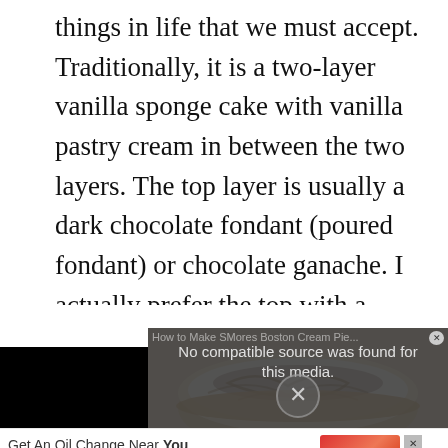things in life that we must accept. Traditionally, it is a two-layer vanilla sponge cake with vanilla pastry cream in between the two layers. The top layer is usually a dark chocolate fondant (poured fondant) or chocolate ganache. I actually prefer the top with a fudge frosting rather than ganache, but that's just me. Wikipedia has a brief history about its creation.
[Figure (screenshot): A webpage screenshot showing a video overlay with 'How to Make SMores Boston Cream Pie' title partially visible. The video player shows 'No compatible source was found for this media.' with an X circle button. Below is a partially visible image of a Boston cream pie / similar dessert. At the bottom is an advertisement bar reading 'Get An Oil Change Near You' with a 'Learn More' button and a Cinnamon Snick logo.]